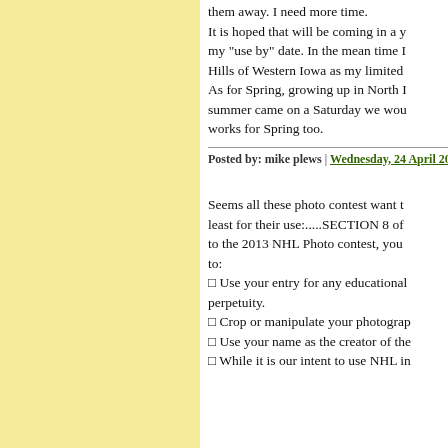them away. I need more time. It is hoped that will be coming in a y my "use by" date. In the mean time Hills of Western Iowa as my limited As for Spring, growing up in North summer came on a Saturday we wou works for Spring too.
Posted by: mike plews | Wednesday, 24 April 2013 at 0
Seems all these photo contest want t least for their use:.....SECTION 8 of to the 2013 NHL Photo contest, you to:
□ Use your entry for any educational perpetuity.
□ Crop or manipulate your photograp
□ Use your name as the creator of the
□ While it is our intent to use NHL in